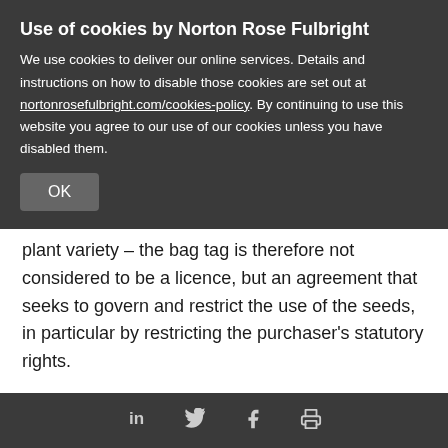Use of cookies by Norton Rose Fulbright
We use cookies to deliver our online services. Details and instructions on how to disable those cookies are set out at nortonrosefulbright.com/cookies-policy. By continuing to use this website you agree to our use of our cookies unless you have disabled them.
OK
plant variety – the bag tag is therefore not considered to be a licence, but an agreement that seeks to govern and restrict the use of the seeds, in particular by restricting the purchaser's statutory rights.
Can a bag tag agreement be enforced?
However, a breeder's ability to enforce such
LinkedIn Twitter Facebook Print